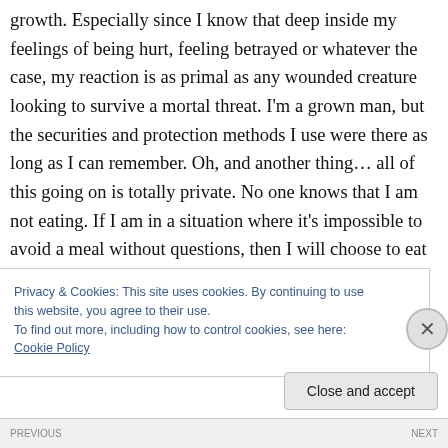growth. Especially since I know that deep inside my feelings of being hurt, feeling betrayed or whatever the case, my reaction is as primal as any wounded creature looking to survive a mortal threat. I'm a grown man, but the securities and protection methods I use were there as long as I can remember. Oh, and another thing… all of this going on is totally private. No one knows that I am not eating. If I am in a situation where it's impossible to avoid a meal without questions, then I will choose to eat something to keep my inner matters to myself. In this quietness I focus
Privacy & Cookies: This site uses cookies. By continuing to use this website, you agree to their use.
To find out more, including how to control cookies, see here: Cookie Policy
Close and accept
PREVIOUS   NEXT